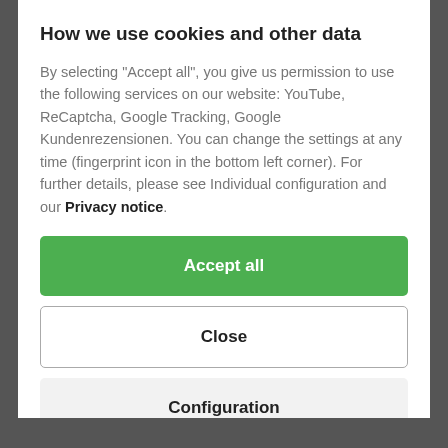How we use cookies and other data
By selecting "Accept all", you give us permission to use the following services on our website: YouTube, ReCaptcha, Google Tracking, Google Kundenrezensionen. You can change the settings at any time (fingerprint icon in the bottom left corner). For further details, please see Individual configuration and our Privacy notice.
Accept all
Close
Configuration